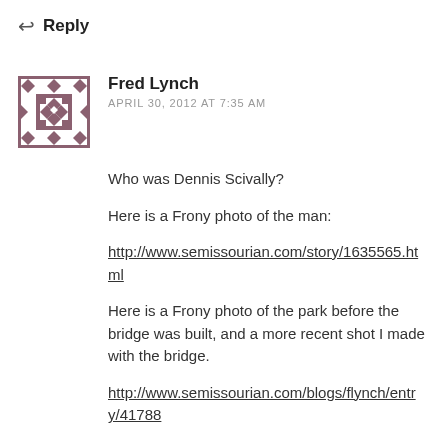↩ Reply
[Figure (illustration): Geometric pattern avatar for Fred Lynch — a square tile with diamond and cross motifs in dark mauve/purple on white]
Fred Lynch
APRIL 30, 2012 AT 7:35 AM
Who was Dennis Scivally?
Here is a Frony photo of the man:
http://www.semissourian.com/story/1635565.html
Here is a Frony photo of the park before the bridge was built, and a more recent shot I made with the bridge.
http://www.semissourian.com/blogs/flynch/entry/41788